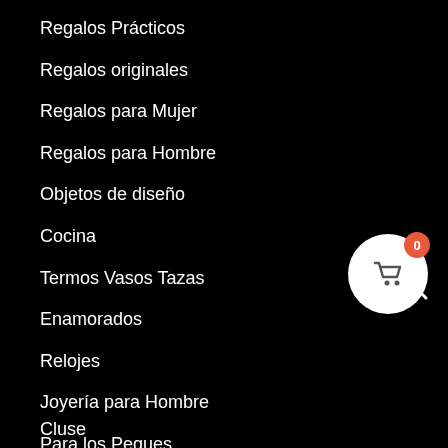Regalos Prácticos
Regalos originales
Regalos para Mujer
Regalos para Hombre
Objetos de diseño
Cocina
Termos Vasos Tazas
Enamorados
Relojes
Joyería para Hombre
Para los Peques
[Figure (other): Shopping cart button with badge showing 0]
Cluse